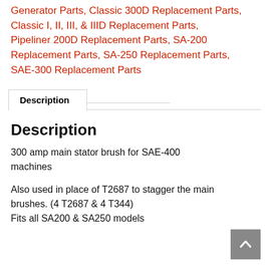Generator Parts, Classic 300D Replacement Parts, Classic I, II, III, & IIID Replacement Parts, Pipeliner 200D Replacement Parts, SA-200 Replacement Parts, SA-250 Replacement Parts, SAE-300 Replacement Parts
Description
Description
300 amp main stator brush for SAE-400 machines
Also used in place of T2687 to stagger the main brushes. (4 T2687 & 4 T344)
Fits all SA200 & SA250 models